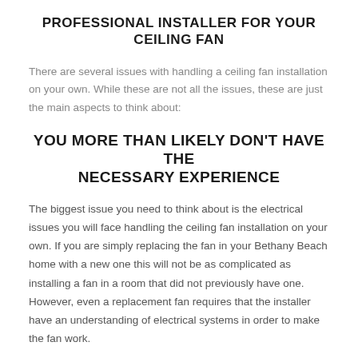PROFESSIONAL INSTALLER FOR YOUR CEILING FAN
There are several issues with handling a ceiling fan installation on your own. While these are not all the issues, these are just the main aspects to think about:
YOU MORE THAN LIKELY DON'T HAVE THE NECESSARY EXPERIENCE
The biggest issue you need to think about is the electrical issues you will face handling the ceiling fan installation on your own. If you are simply replacing the fan in your Bethany Beach home with a new one this will not be as complicated as installing a fan in a room that did not previously have one. However, even a replacement fan requires that the installer have an understanding of electrical systems in order to make the fan work.